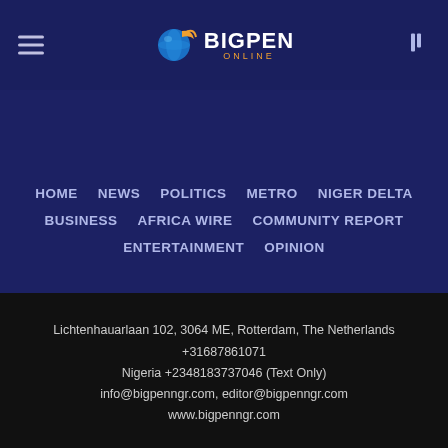[Figure (logo): BigPen Online logo with globe/pen icon and text BIGPEN ONLINE]
BigPen Online navigation header with hamburger menu and search icon
HOME
NEWS
POLITICS
METRO
NIGER DELTA
BUSINESS
AFRICA WIRE
COMMUNITY REPORT
ENTERTAINMENT
OPINION
Lichtenhauarlaan 102, 3064 ME, Rotterdam, The Netherlands +31687861071 Nigeria +2348183737046 (Text Only) info@bigpenngr.com, editor@bigpenngr.com www.bigpenngr.com